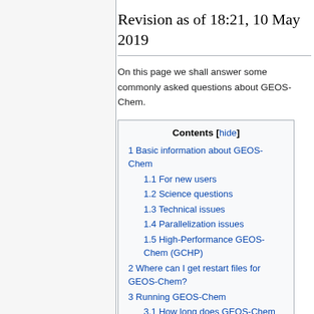Revision as of 18:21, 10 May 2019
On this page we shall answer some commonly asked questions about GEOS-Chem.
| Contents [hide] |
| --- |
| 1 Basic information about GEOS-Chem |
| 1.1 For new users |
| 1.2 Science questions |
| 1.3 Technical issues |
| 1.4 Parallelization issues |
| 1.5 High-Performance GEOS-Chem (GCHP) |
| 2 Where can I get restart files for GEOS-Chem? |
| 3 Running GEOS-Chem |
| 3.1 How long does GEOS-Chem take to run? |
| 3.2 GEOS-Chem seems to be |